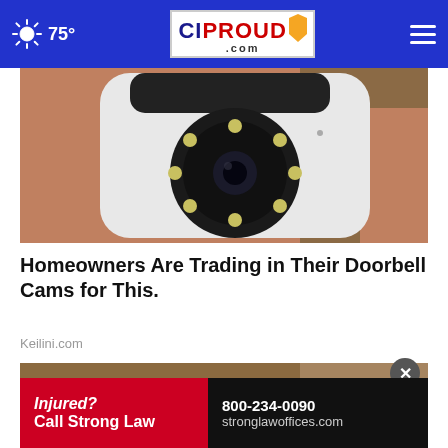75° CIProud.com
[Figure (photo): Close-up photo of a hand holding a small white security camera with a round black lens ring and multiple LED lights]
Homeowners Are Trading in Their Doorbell Cams for This.
Keilini.com
[Figure (photo): Partial photo of a second article, brown/wooden background visible]
Injured? 800-234-0090 Call Strong Law stronglawoffices.com